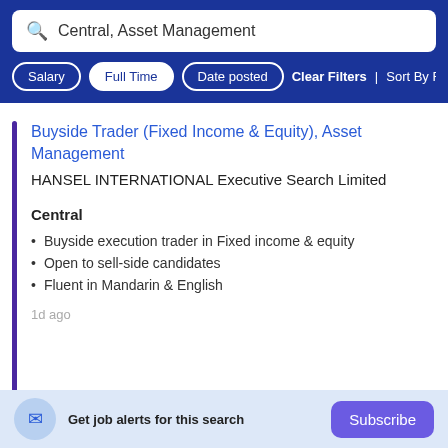Central, Asset Management
Salary | Full Time | Date posted | Clear Filters | Sort By Rele...
Buyside Trader (Fixed Income & Equity), Asset Management
HANSEL INTERNATIONAL Executive Search Limited
Central
Buyside execution trader in Fixed income & equity
Open to sell-side candidates
Fluent in Mandarin & English
1d ago
Get job alerts for this search